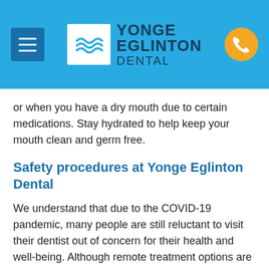YONGE EGLINTON DENTAL
or when you have a dry mouth due to certain medications. Stay hydrated to help keep your mouth clean and germ free.
Safety procedures at Yonge Eglinton Dental
We understand that due to the COVID-19 pandemic, many people are still reluctant to visit their dentist out of concern for their health and well-being. Although remote treatment options are available, some dental procedures, such as treating an abscessed tooth, can only be carried out in the office.